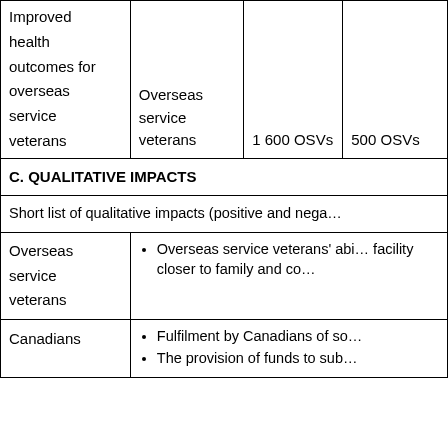| Improved health outcomes for overseas service veterans | Overseas service veterans | 1 600 OSVs | 500 OSVs |
| C. QUALITATIVE IMPACTS |  |  |  |
| Short list of qualitative impacts (positive and negative) |  |  |  |
| Overseas service veterans | Overseas service veterans' ability to live in a facility closer to family and community |  |  |
| Canadians | Fulfilment by Canadians of social obligation
The provision of funds to sub... |  |  |